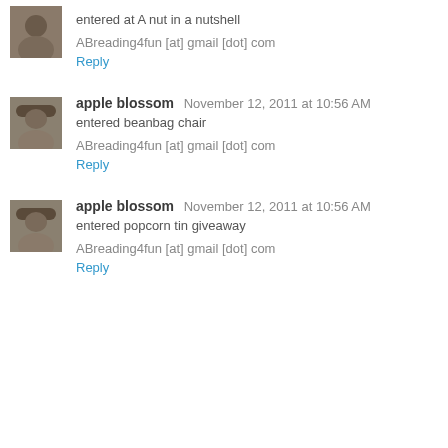[Figure (photo): Small avatar photo of a person]
entered at A nut in a nutshell
ABreading4fun [at] gmail [dot] com
Reply
[Figure (photo): Small avatar photo of apple blossom]
apple blossom  November 12, 2011 at 10:56 AM
entered beanbag chair
ABreading4fun [at] gmail [dot] com
Reply
[Figure (photo): Small avatar photo of apple blossom]
apple blossom  November 12, 2011 at 10:56 AM
entered popcorn tin giveaway
ABreading4fun [at] gmail [dot] com
Reply